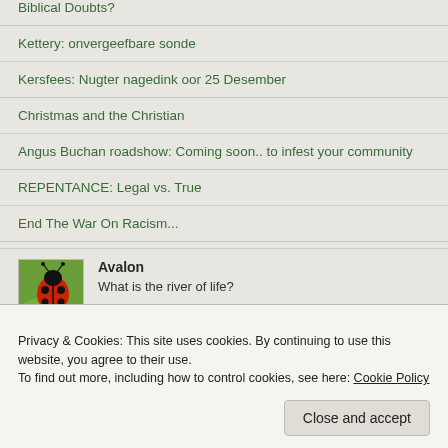Biblical Doubts?
Kettery: onvergeefbare sonde
Kersfees: Nugter nagedink oor 25 Desember
Christmas and the Christian
Angus Buchan roadshow: Coming soon.. to infest your community
REPENTANCE: Legal vs. True
End The War On Racism...
Avalon — What is the river of life?
Privacy & Cookies: This site uses cookies. By continuing to use this website, you agree to their use. To find out more, including how to control cookies, see here: Cookie Policy